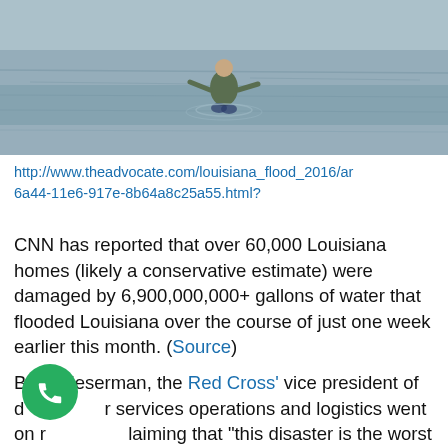[Figure (photo): Person wading through deep floodwater during Louisiana flood 2016. The person appears waist-deep in grey floodwater, photographed from a distance.]
http://www.theadvocate.com/louisiana_flood_2016/ar 6a44-11e6-917e-8b64a8c25a55.html?
CNN has reported that over 60,000 Louisiana homes (likely a conservative estimate) were damaged by 6,900,000,000+ gallons of water that flooded Louisiana over the course of just one week earlier this month. (Source)
Brad Kieserman, the Red Cross' vice president of disaster services operations and logistics went on record claiming that "this disaster is the worst to hit the United States since Superstorm Sandy, and we..."